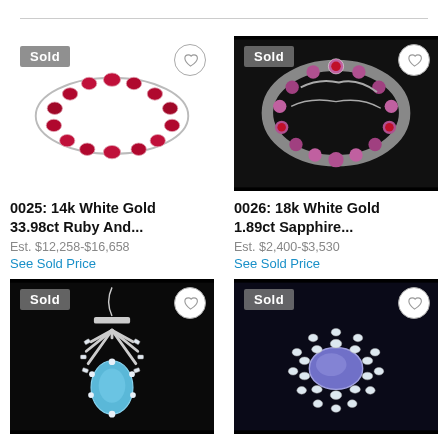[Figure (photo): Ruby and diamond tennis bracelet set in 14k white gold, on white background. 'Sold' badge top-left, heart icon top-right.]
0025: 14k White Gold 33.98ct Ruby And...
Est. $12,258-$16,658
See Sold Price
[Figure (photo): 18k white gold sapphire ring with floral design on black background. 'Sold' badge top-left, heart icon top-right.]
0026: 18k White Gold 1.89ct Sapphire...
Est. $2,400-$3,530
See Sold Price
[Figure (photo): Aquamarine and diamond pendant necklace on black background. 'Sold' badge top-left, heart icon top-right.]
[Figure (photo): Tanzanite and diamond brooch/ring on dark background. 'Sold' badge top-left, heart icon top-right.]